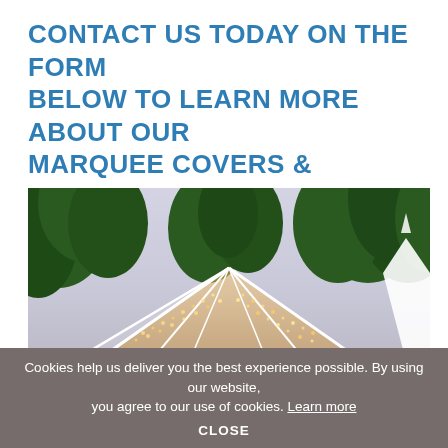CONTACT US TODAY ON THE FORM BELOW TO LEARN MORE ABOUT OUR MARQUEE COVERS & PANELS!
[Figure (photo): Outdoor marquee tent with transparent roof panels decorated with warm fairy lights, surrounded by green trees under a dusk sky. A pointed white pagoda tent is visible to the right.]
Cookies help us deliver you the best experience possible. By using our website, you agree to our use of cookies. Learn more
CLOSE